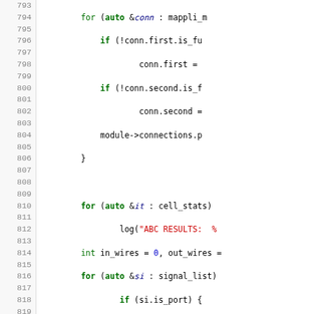[Figure (screenshot): Source code viewer showing C++ code lines 793-823 with syntax highlighting. Line numbers in left gutter, code with green keywords, red strings, blue numerals, italic blue variable names.]